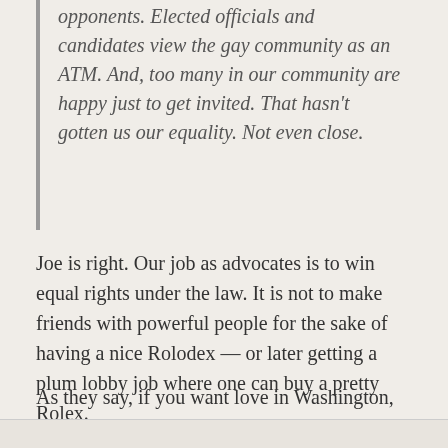opponents. Elected officials and candidates view the gay community as an ATM. And, too many in our community are happy just to get invited. That hasn't gotten us our equality. Not even close.
Joe is right. Our job as advocates is to win equal rights under the law. It is not to make friends with powerful people for the sake of having a nice Rolodex — or later getting a plum lobby job where one can buy a pretty Rolex.
As they say, if you want love in Washington, DC buy a dog. Before we are revered in the halls of Congress, we must first be feared.